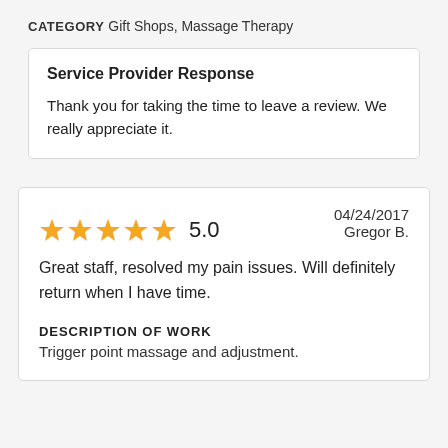CATEGORY Gift Shops, Massage Therapy
Service Provider Response
Thank you for taking the time to leave a review. We really appreciate it.
5.0   04/24/2017   Gregor B.
Great staff, resolved my pain issues. Will definitely return when I have time.
DESCRIPTION OF WORK
Trigger point massage and adjustment.